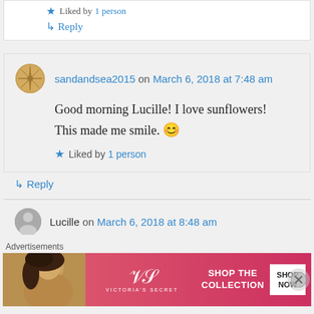Liked by 1 person
↳ Reply
sandandsea2015 on March 6, 2018 at 7:48 am
Good morning Lucille! I love sunflowers! This made me smile. 😊
★ Liked by 1 person
↳ Reply
Lucille on March 6, 2018 at 8:48 am
Advertisements
[Figure (other): Victoria's Secret advertisement banner with model and 'SHOP THE COLLECTION SHOP NOW' text]